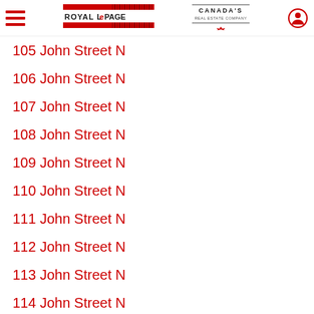Royal LePage — Canada's Real Estate Company
105 John Street N
106 John Street N
107 John Street N
108 John Street N
109 John Street N
110 John Street N
111 John Street N
112 John Street N
113 John Street N
114 John Street N
115 John Street N
116 John Street N
117 John Street N